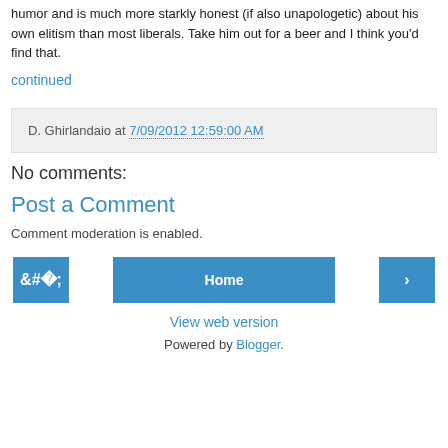humor and is much more starkly honest (if also unapologetic) about his own elitism than most liberals. Take him out for a beer and I think you'd find that.
continued
D. Ghirlandaio at 7/09/2012 12:59:00 AM
No comments:
Post a Comment
Comment moderation is enabled.
‹ | Home | ›
View web version
Powered by Blogger.